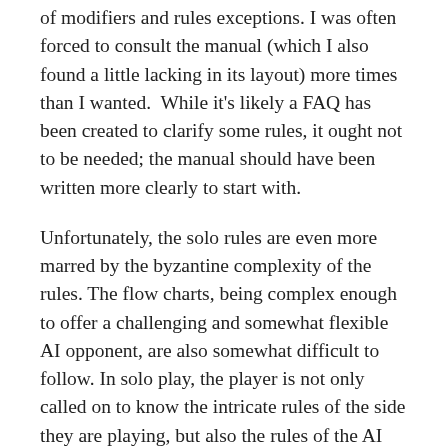of modifiers and rules exceptions. I was often forced to consult the manual (which I also found a little lacking in its layout) more times than I wanted.  While it's likely a FAQ has been created to clarify some rules, it ought not to be needed; the manual should have been written more clearly to start with.
Unfortunately, the solo rules are even more marred by the byzantine complexity of the rules. The flow charts, being complex enough to offer a challenging and somewhat flexible AI opponent, are also somewhat difficult to follow. In solo play, the player is not only called on to know the intricate rules of the side they are playing, but also the rules of the AI side. Repeated plays will certainly lessen this problem, but the flow charts themselves are overly vague. So, if the